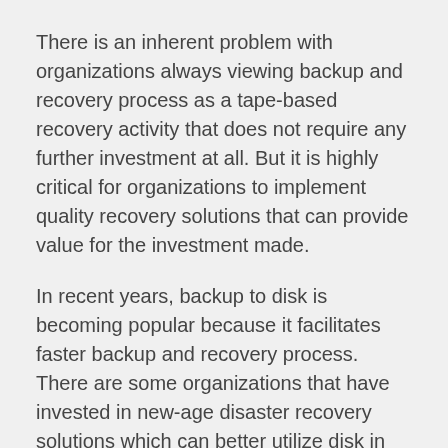There is an inherent problem with organizations always viewing backup and recovery process as a tape-based recovery activity that does not require any further investment at all. But it is highly critical for organizations to implement quality recovery solutions that can provide value for the investment made.
In recent years, backup to disk is becoming popular because it facilitates faster backup and recovery process. There are some organizations that have invested in new-age disaster recovery solutions which can better utilize disk in the data protection process. By doing so, they can drive higher efficiency from the backup process. Disaster Recovery Support
The new recovery and backup solutions make a copy of the data and storing it in a format, so the application and the data it protects are immediately recoverable. By doing